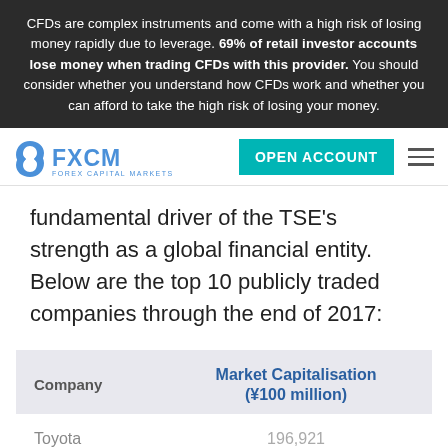CFDs are complex instruments and come with a high risk of losing money rapidly due to leverage. 69% of retail investor accounts lose money when trading CFDs with this provider. You should consider whether you understand how CFDs work and whether you can afford to take the high risk of losing your money.
[Figure (logo): FXCM Forex Capital Markets logo with teal Open Account button and hamburger menu icon]
fundamental driver of the TSE's strength as a global financial entity. Below are the top 10 publicly traded companies through the end of 2017:
| Company | Market Capitalisation (¥100 million) |
| --- | --- |
| Toyota | 196,921 |